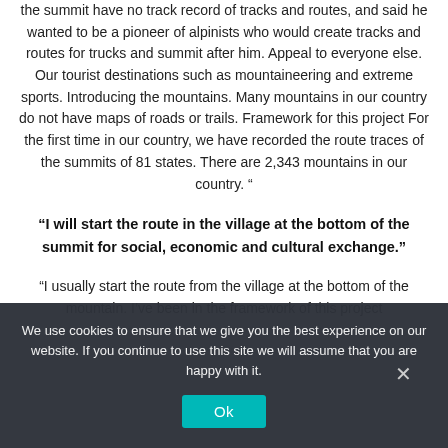the summit have no track record of tracks and routes, and said he wanted to be a pioneer of alpinists who would create tracks and routes for trucks and summit after him. Appeal to everyone else. Our tourist destinations such as mountaineering and extreme sports. Introducing the mountains. Many mountains in our country do not have maps of roads or trails. Framework for this project For the first time in our country, we have recorded the route traces of the summits of 81 states. There are 2,343 mountains in our country. ”
“I will start the route in the village at the bottom of the summit for social, economic and cultural exchange.”
“I usually start the route from the village at the bottom of the mountain. I’ve been in the framework of this project
We use cookies to ensure that we give you the best experience on our website. If you continue to use this site we will assume that you are happy with it.